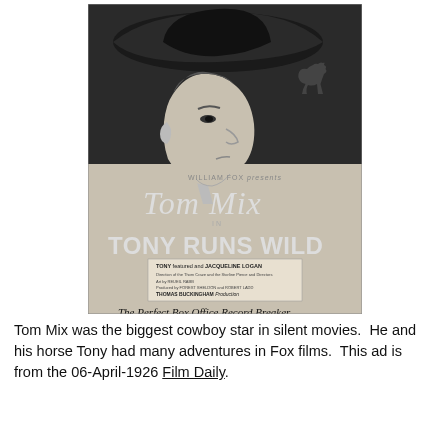[Figure (illustration): Black and white vintage movie advertisement poster for 'Tony Runs Wild' featuring Tom Mix. Shows a graphic illustration of a cowboy's face in profile wearing a wide-brimmed hat, with a small rearing horse silhouette. Text reads: WILLIAM FOX presents Tom Mix IN TONY RUNS WILD. Credits box: TONY featured and JACQUELINE LOGAN, Direction of the Thom Craze and the Storline Pierce and Directors, Art by REUEIL RABB, Produced by FOREST SHELDON and ROBERT LADD, THOMAS BUCKINGHAM Production. Below: The Perfect Box Office Record Breaker, MIX—always pulls 'em in!, Title—sure to stop 'em!, TONY—another great favorite!, Fox Film Corporation.]
Tom Mix was the biggest cowboy star in silent movies.  He and his horse Tony had many adventures in Fox films.  This ad is from the 06-April-1926 Film Daily.